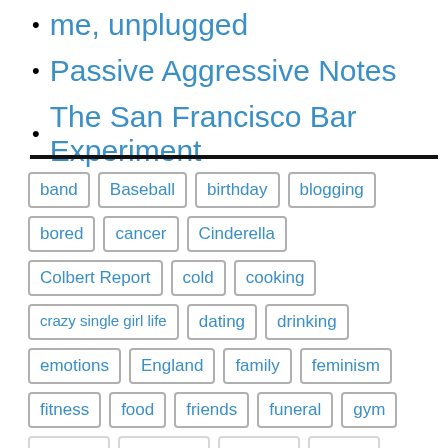me, unplugged
Passive Aggressive Notes
The San Francisco Bar Experiment
band | Baseball | birthday | blogging | bored | cancer | Cinderella | Colbert Report | cold | cooking | crazy single girl life | dating | drinking | emotions | England | family | feminism | fitness | food | friends | funeral | gym